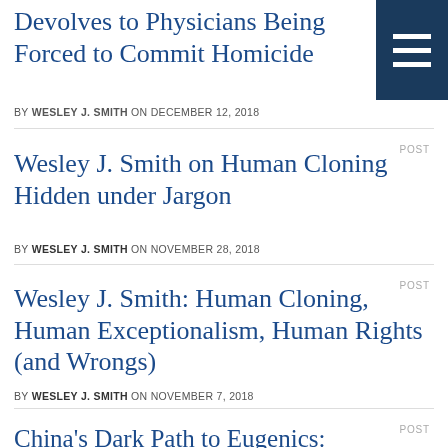Devolves to Physicians Being Forced to Commit Homicide
BY WESLEY J. SMITH ON DECEMBER 12, 2018
POST
Wesley J. Smith on Human Cloning Hidden under Jargon
BY WESLEY J. SMITH ON NOVEMBER 28, 2018
POST
Wesley J. Smith: Human Cloning, Human Exceptionalism, Human Rights (and Wrongs)
BY WESLEY J. SMITH ON NOVEMBER 7, 2018
POST
China's Dark Path to Eugenics: Preimplantation Genetic Diagnosis...